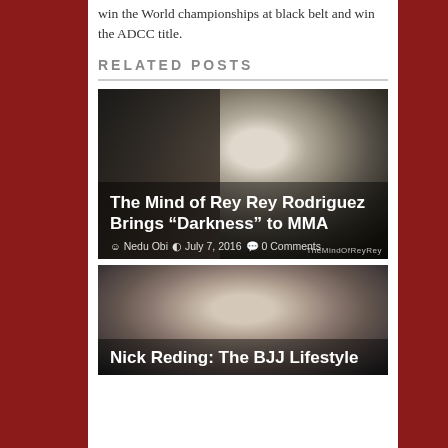win the World championships at black belt and win the ADCC title.
RELATED POSTS
[Figure (photo): Black and white photo of a bald man in a dark suit, looking down, adjusting something, with a blurred figure in the background. Overlay text shows article title, author, date, and comments.]
The Mind of Rey Rey Rodriguez Brings “Darkness” to MMA
Nedu Obi  July 7, 2016  0 Comments
[Figure (photo): Partial photo of a man in a white gi (martial arts uniform) looking forward, with others in the background. Article title partially visible at bottom.]
Nick Reding: The BJJ Lifestyle